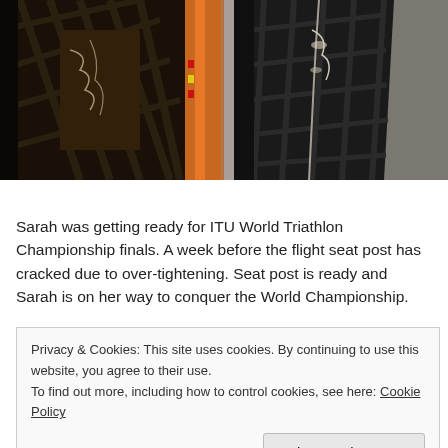[Figure (photo): Two close-up photos of a cracked carbon fiber seat post. Left photo shows the cracked area with visible damage and some orange/yellow material visible on the right edge. Right photo shows the seat post from another angle, with a dark triangular carbon fiber pattern and visible cracking.]
Sarah was getting ready for ITU World Triathlon Championship finals. A week before the flight seat post has cracked due to over-tightening. Seat post is ready and Sarah is on her way to conquer the World Championship.
Privacy & Cookies: This site uses cookies. By continuing to use this website, you agree to their use.
To find out more, including how to control cookies, see here: Cookie Policy
Close and accept
TAGS: CARBON FIBER BICYCLE REPAIR, CARBON FIBER BICYCLE REPAIR REPAIR SERVICE, CARBON FIBER BICYCLE REPAIR MODIFICATION